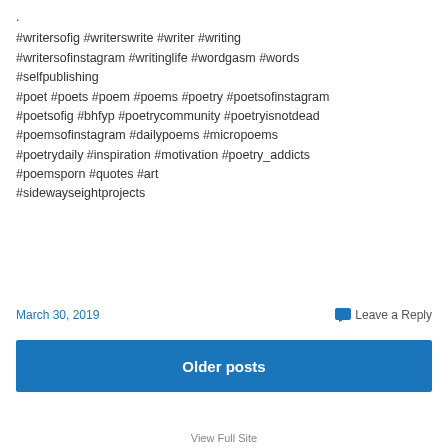. #writersofig #writerswrite #writer #writing #writersofinstagram #writinglife #wordgasm #words #selfpublishing #poet #poets #poem #poems #poetry #poetsofinstagram #poetsofig #bhfyp #poetrycommunity #poetryisnotdead #poemsofinstagram #dailypoems #micropoems #poetrydaily #inspiration #motivation #poetry_addicts #poemsporn #quotes #art #sidewayseightprojects
March 30, 2019
Leave a Reply
Older posts
View Full Site